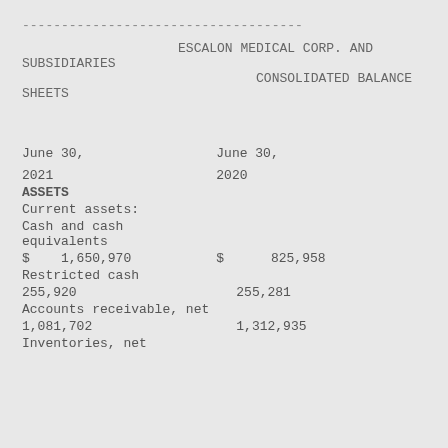------------------------------------
ESCALON MEDICAL CORP. AND SUBSIDIARIES
CONSOLIDATED BALANCE SHEETS
|  | June 30, 2021 | June 30, 2020 |
| --- | --- | --- |
| ASSETS |  |  |
| Current assets: |  |  |
| Cash and cash equivalents |  |  |
| $ | 1,650,970 | $ 825,958 |
| Restricted cash |  |  |
|  | 255,920 | 255,281 |
| Accounts receivable, net |  |  |
|  | 1,081,702 | 1,312,935 |
| Inventories, net |  |  |